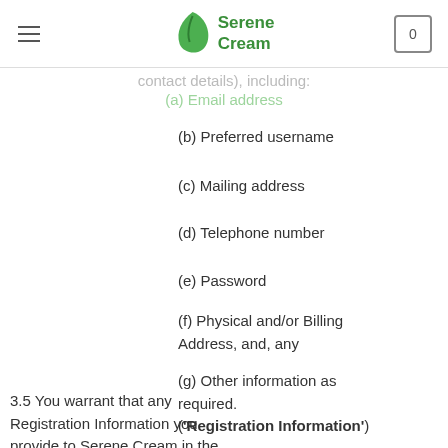Serene Cream
(a) Email address
(b) Preferred username
(c) Mailing address
(d) Telephone number
(e) Password
(f) Physical and/or Billing Address, and, any
(g) Other information as required. ('Registration Information')
3.5 You warrant that any Registration Information you provide to Serene Cream in the